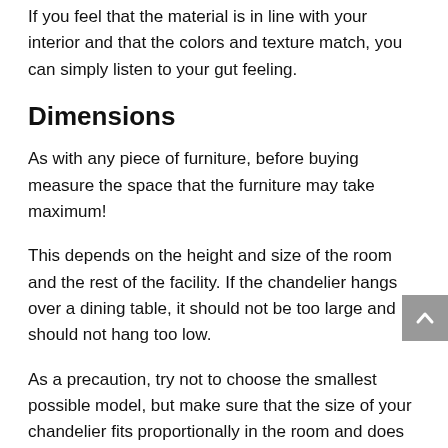If you feel that the material is in line with your interior and that the colors and texture match, you can simply listen to your gut feeling.
Dimensions
As with any piece of furniture, before buying measure the space that the furniture may take maximum!
This depends on the height and size of the room and the rest of the facility. If the chandelier hangs over a dining table, it should not be too large and should not hang too low.
As a precaution, try not to choose the smallest possible model, but make sure that the size of your chandelier fits proportionally in the room and does not disturb the eye.
If you can't imagine how the chandelier will work in